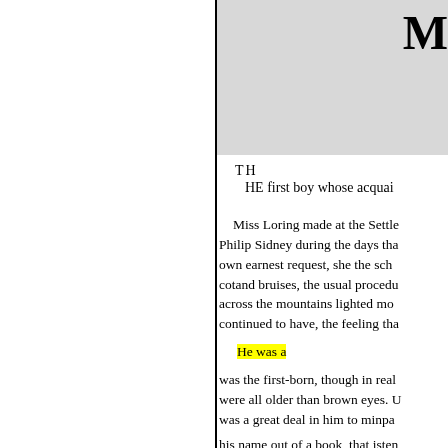[Figure (illustration): Decorative image area with gray background and bold letter M visible at top right]
TH
    HE first boy whose acquai
Miss Loring made at the Settle Philip Sidney during the days tha own earnest request, she the scho cotand bruises, the usual procedu across the mountains lighted mo continued to have, the feeling tha

He was a

was the first-born, though in real were all older than brown eyes. U was a great deal in him to minpa his name out of a book, that isten one of the most prominent and in mountains, and Philip did come